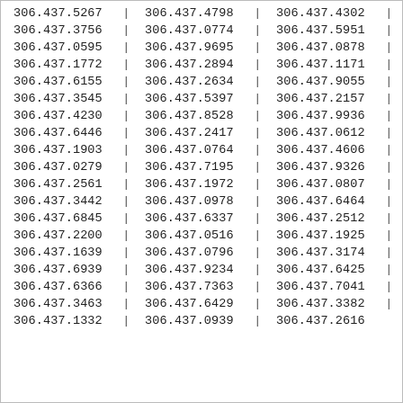| 306.437.5267 | | | 306.437.4798 | | | 306.437.4302 | | |
| 306.437.3756 | | | 306.437.0774 | | | 306.437.5951 | | |
| 306.437.0595 | | | 306.437.9695 | | | 306.437.0878 | | |
| 306.437.1772 | | | 306.437.2894 | | | 306.437.1171 | | |
| 306.437.6155 | | | 306.437.2634 | | | 306.437.9055 | | |
| 306.437.3545 | | | 306.437.5397 | | | 306.437.2157 | | |
| 306.437.4230 | | | 306.437.8528 | | | 306.437.9936 | | |
| 306.437.6446 | | | 306.437.2417 | | | 306.437.0612 | | |
| 306.437.1903 | | | 306.437.0764 | | | 306.437.4606 | | |
| 306.437.0279 | | | 306.437.7195 | | | 306.437.9326 | | |
| 306.437.2561 | | | 306.437.1972 | | | 306.437.0807 | | |
| 306.437.3442 | | | 306.437.0978 | | | 306.437.6464 | | |
| 306.437.6845 | | | 306.437.6337 | | | 306.437.2512 | | |
| 306.437.2200 | | | 306.437.0516 | | | 306.437.1925 | | |
| 306.437.1639 | | | 306.437.0796 | | | 306.437.3174 | | |
| 306.437.6939 | | | 306.437.9234 | | | 306.437.6425 | | |
| 306.437.6366 | | | 306.437.7363 | | | 306.437.7041 | | |
| 306.437.3463 | | | 306.437.6429 | | | 306.437.3382 | | |
| 306.437.1332 | | | 306.437.0939 | | | 306.437.2616 |  |